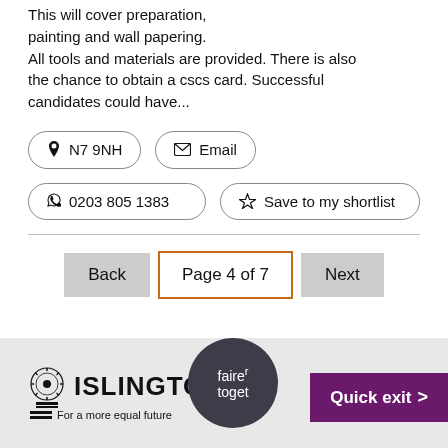This will cover preparation, painting and wall papering. All tools and materials are provided. There is also the chance to obtain a cscs card. Successful candidates could have...
N7 9NH
Email
0203 805 1383
Save to my shortlist
Back | Page 4 of 7 | Next
[Figure (logo): Islington council logo with crest and text: ISLINGTON For a more equal future]
[Figure (logo): Fairer together circular badge, partially obscured by Quick exit button]
Quick exit >